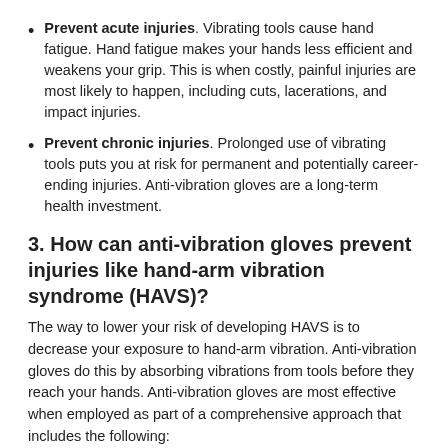Prevent acute injuries. Vibrating tools cause hand fatigue. Hand fatigue makes your hands less efficient and weakens your grip. This is when costly, painful injuries are most likely to happen, including cuts, lacerations, and impact injuries.
Prevent chronic injuries. Prolonged use of vibrating tools puts you at risk for permanent and potentially career-ending injuries. Anti-vibration gloves are a long-term health investment.
3. How can anti-vibration gloves prevent injuries like hand-arm vibration syndrome (HAVS)?
The way to lower your risk of developing HAVS is to decrease your exposure to hand-arm vibration. Anti-vibration gloves do this by absorbing vibrations from tools before they reach your hands. Anti-vibration gloves are most effective when employed as part of a comprehensive approach that includes the following:
Don't grip vibrating tools too tightly (let the machine do the